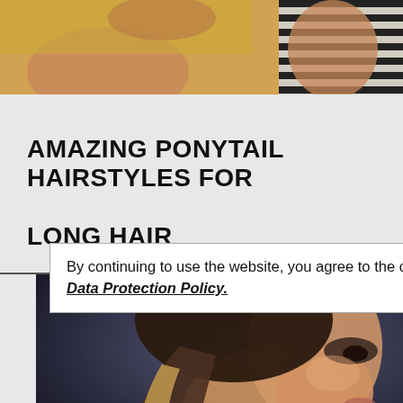[Figure (photo): Top portion of a photo showing two people, one with arm raised against a yellow wall, another in a striped top]
AMAZING PONYTAIL HAIRSTYLES FOR LONG HAIR
By continuing to use the website, you agree to the our Data Protection Policy.
[Figure (photo): Woman with long blonde ponytail hairstyle, side profile view with dramatic makeup against dark background]